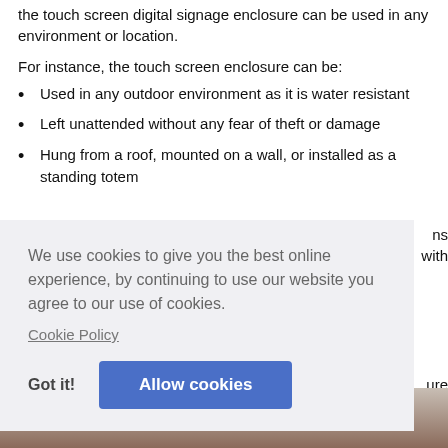the touch screen digital signage enclosure can be used in any environment or location.
For instance, the touch screen enclosure can be:
Used in any outdoor environment as it is water resistant
Left unattended without any fear of theft or damage
Hung from a roof, mounted on a wall, or installed as a standing totem
ns with
We use cookies to give you the best online experience, by continuing to use our website you agree to our use of cookies.
Cookie Policy
Got it!
Allow cookies
ure
[Figure (photo): Bottom portion of a product photo showing a touch screen enclosure]